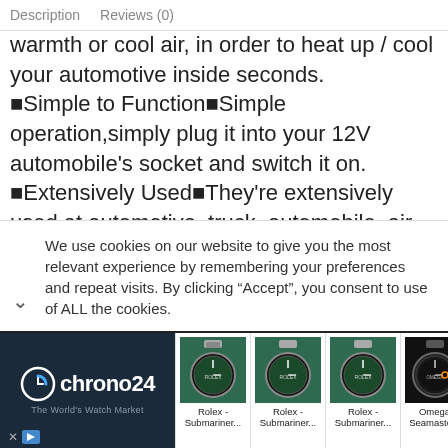Description   Reviews (0)
warmth or cool air, in order to heat up / cool your automotive inside seconds.
■Simple to Function■Simple operation,simply plug it into your 12V automobile’s socket and switch it on.
■Extensively Used■They’re extensively used at automotive, truck, automobile, air conditioner and different generally used home equipment.Match for all 12V automobile automobiles.
We use cookies on our website to give you the most relevant experience by remembering your preferences and repeat visits. By clicking “Accept”, you consent to use of ALL the cookies.
[Figure (screenshot): Chrono24 advertisement banner showing logo and four watch listings: three Rolex Submariner and one Omega Seamaster]